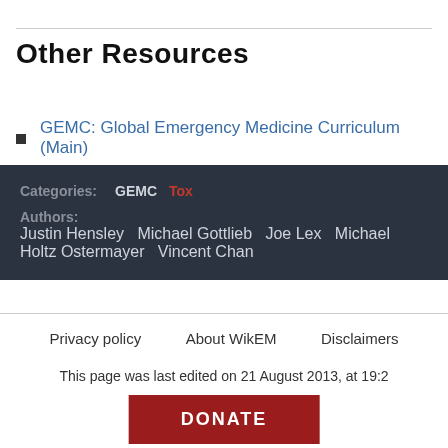Other Resources
GEMC: Global Emergency Medicine Curriculum (Main)
Categories: GEMC Tox
Authors: Justin Hensley  Michael Gottlieb  Joe Lex  Michael Holtz Ostermayer  Vincent Chan
Privacy policy   About WikEM   Disclaimers
This page was last edited on 21 August 2013, at 19:2
DONATE